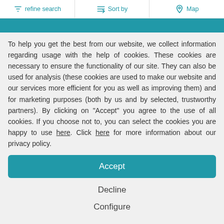refine search | Sort by | Map
To help you get the best from our website, we collect information regarding usage with the help of cookies. These cookies are necessary to ensure the functionality of our site. They can also be used for analysis (these cookies are used to make our website and our services more efficient for you as well as improving them) and for marketing purposes (both by us and by selected, trustworthy partners). By clicking on "Accept" you agree to the use of all cookies. If you choose not to, you can select the cookies you are happy to use here. Click here for more information about our privacy policy.
Accept
Decline
Configure